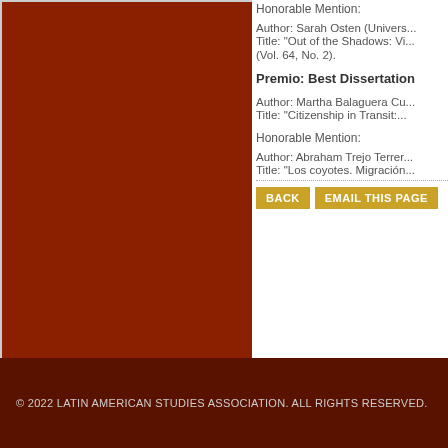[Figure (illustration): Dark brown/red rectangle representing an image placeholder on the left side of the page]
Honorable Mention:
Author: Sarah Osten (Univers...
Title: "Out of the Shadows: Vi...
(Vol. 64, No. 2).
Premio: Best Dissertation
Author: Martha Balaguera Cu...
Title: "Citizenship in Transit:...
Honorable Mention:
Author: Abraham Trejo Terrer...
Title: "Los coyotes. Migración...
© 2022 LATIN AMERICAN STUDIES ASSOCIATION. ALL RIGHTS RESERVED.